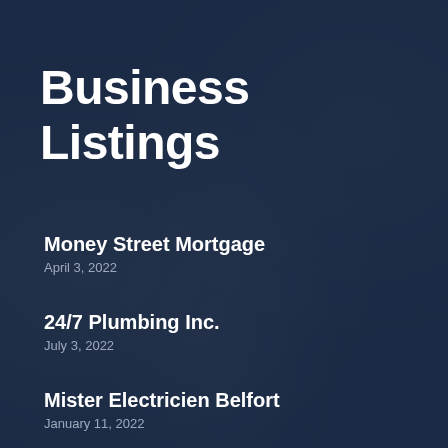Business Listings
Money Street Mortgage
April 3, 2022
24/7 Plumbing Inc.
July 3, 2022
Mister Electricien Belfort
January 11, 2022